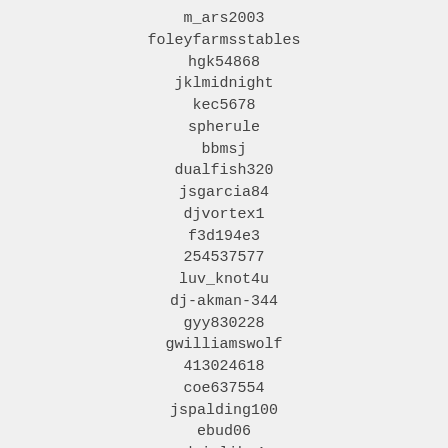m_ars2003
foleyfarmsstables
hgk54868
jklmidnight
kec5678
spherule
bbmsj
dualfish320
jsgarcia84
djvortex1
f3d194e3
254537577
luv_knot4u
dj-akman-344
gyy830228
gwilliamswolf
413024618
coe637554
jspalding100
ebud06
drivlike4
jy2986
flair1980
493196678